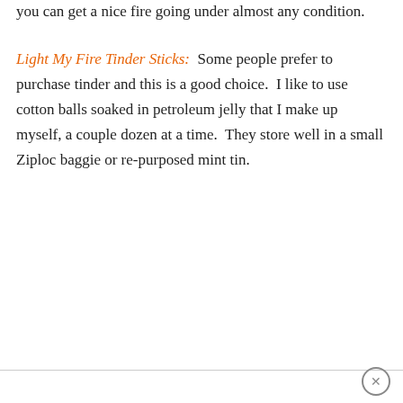you can get a nice fire going under almost any condition.
Light My Fire Tinder Sticks:  Some people prefer to purchase tinder and this is a good choice.  I like to use cotton balls soaked in petroleum jelly that I make up myself, a couple dozen at a time.  They store well in a small Ziploc baggie or re-purposed mint tin.